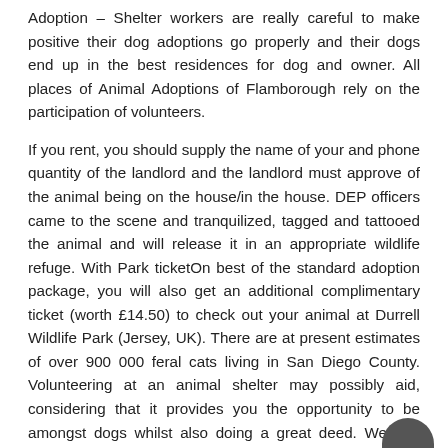Adoption – Shelter workers are really careful to make positive their dog adoptions go properly and their dogs end up in the best residences for dog and owner. All places of Animal Adoptions of Flamborough rely on the participation of volunteers.
If you rent, you should supply the name of your and phone quantity of the landlord and the landlord must approve of the animal being on the house/in the house. DEP officers came to the scene and tranquilized, tagged and tattooed the animal and will release it in an appropriate wildlife refuge. With Park ticketOn best of the standard adoption package, you will also get an additional complimentary ticket (worth £14.50) to check out your animal at Durrell Wildlife Park (Jersey, UK). There are at present estimates of over 900 000 feral cats living in San Diego County. Volunteering at an animal shelter may possibly aid, considering that it provides you the opportunity to be amongst dogs whilst also doing a great deed. We beg these who are considering acquiring an animal to feel by means of their selection very very carefully.